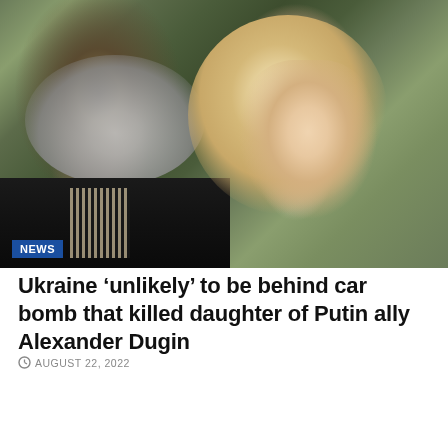[Figure (photo): Photo of an older man with a long gray beard wearing a dark embroidered shirt, alongside a young blonde woman smiling, with a 'NEWS' badge overlay in the bottom left corner]
Ukraine ‘unlikely’ to be behind car bomb that killed daughter of Putin ally Alexander Dugin
AUGUST 22, 2022
[Figure (photo): Partial photo showing the top of a dark-haired man's head against a blurred background]